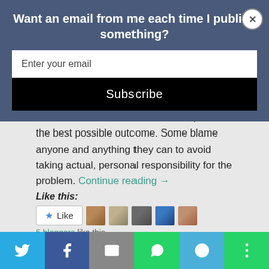Want an email from me each time I publish something?
hands and declare that the status quo is the best possible outcome. Some blame anyone and anything they can to avoid taking actual, personal responsibility for the problem. Continue reading →
Like this:
5 bloggers like this.
[Figure (infographic): Social share bar with icons for Twitter, Facebook, Email, WhatsApp, SMS, and More]